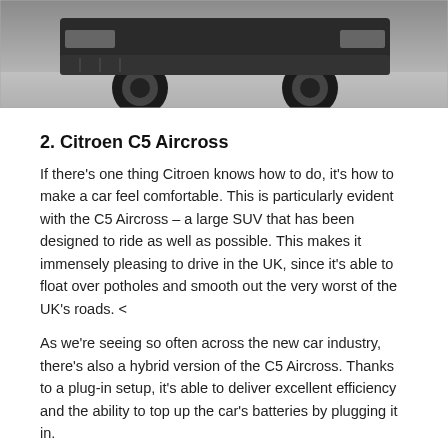[Figure (photo): Cropped bottom portion of a Citroen C5 Aircross SUV driving on a road, showing the front wheels and undercarriage area.]
2. Citroen C5 Aircross
If there’s one thing Citroen knows how to do, it’s how to make a car feel comfortable. This is particularly evident with the C5 Aircross – a large SUV that has been designed to ride as well as possible. This makes it immensely pleasing to drive in the UK, since it’s able to float over potholes and smooth out the very worst of the UK’s roads. <
As we’re seeing so often across the new car industry, there’s also a hybrid version of the C5 Aircross. Thanks to a plug-in setup, it’s able to deliver excellent efficiency and the ability to top up the car’s batteries by plugging it in.
Best features –